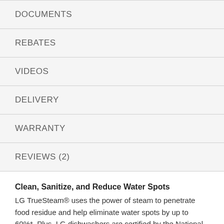DOCUMENTS
REBATES
VIDEOS
DELIVERY
WARRANTY
REVIEWS (2)
Clean, Sanitize, and Reduce Water Spots
LG TrueSteam® uses the power of steam to penetrate food residue and help eliminate water spots by up to 60%*. Plus, LG dishwashers are certified by the National Sanitization Foundation to reduce bacteria on dishes by 99.999% and reach a final rinse temperature greater than 150°F when